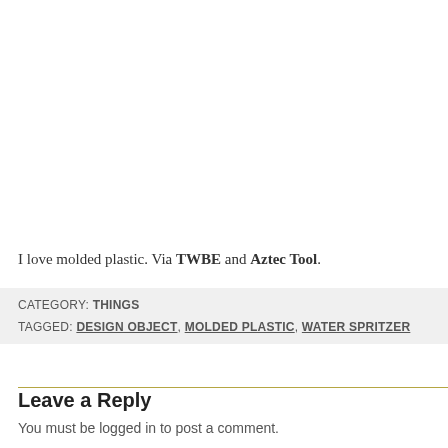I love molded plastic. Via TWBE and Aztec Tool.
CATEGORY: Things
TAGGED: design object, molded plastic, water spritzer
Leave a Reply
You must be logged in to post a comment.